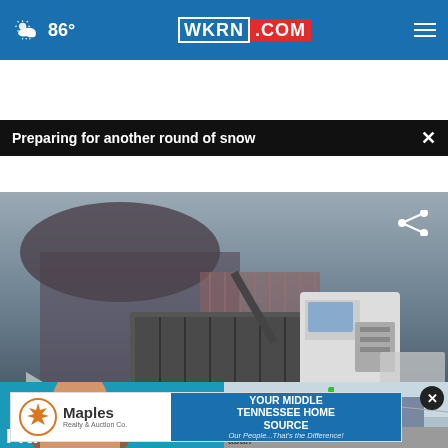[Figure (screenshot): WKRN.com website navigation bar with weather icon showing 86°, WKRN.COM logo, and hamburger menu]
Preparing for another round of snow
[Figure (screenshot): News video thumbnail showing a dump truck at TDOT headquarters preparing for snow, with lower-third graphic reading PREPARING FOR ANOTHER ROUND OF SNOW and TDOT HEADQUARTERS, plus a play button and share icon]
[Figure (photo): Two thumbnail images at bottom - left showing a person's face (partial), right showing a street scene]
[Figure (other): Advertisement banner for Maples Realty & Auction Co. with text YOUR MIDDLE TENNESSEE HOME SOURCE - Our People...That's the Difference!]